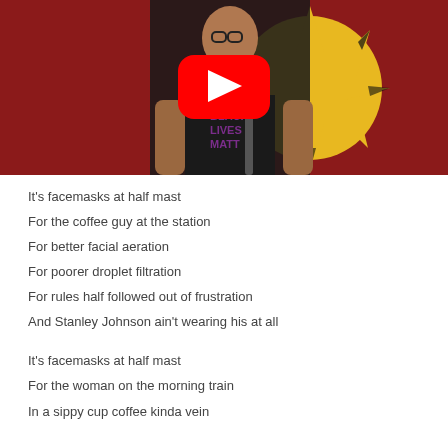[Figure (screenshot): YouTube video thumbnail showing a tattooed man wearing a Black Lives Matter t-shirt in front of a red wall with a yellow sun mural. A red YouTube play button overlay is centered on the image.]
It's facemasks at half mast
For the coffee guy at the station
For better facial aeration
For poorer droplet filtration
For rules half followed out of frustration
And Stanley Johnson ain't wearing his at all
It's facemasks at half mast
For the woman on the morning train
In a sippy cup coffee kinda vein